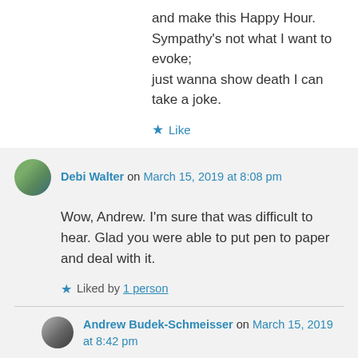and make this Happy Hour.
Sympathy's not what I want to evoke;
just wanna show death I can take a joke.
★ Like
Debi Walter on March 15, 2019 at 8:08 pm
Wow, Andrew. I'm sure that was difficult to hear. Glad you were able to put pen to paper and deal with it.
★ Liked by 1 person
Andrew Budek-Schmeisser on March 15, 2019 at 8:42 pm